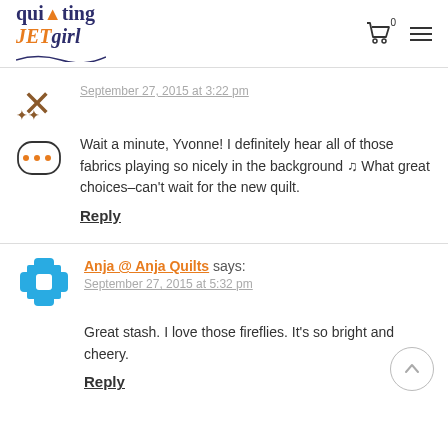Quilting JET girl - website header with cart and menu icons
[Figure (logo): Quilting Jet Girl logo with needle graphic and wavy underline]
September 27, 2015 at 3:22 pm
Wait a minute, Yvonne! I definitely hear all of those fabrics playing so nicely in the background 🎵 What great choices–can't wait for the new quilt.
Reply
Anja @ Anja Quilts says:
September 27, 2015 at 5:32 pm
Great stash. I love those fireflies. It's so bright and cheery.
Reply